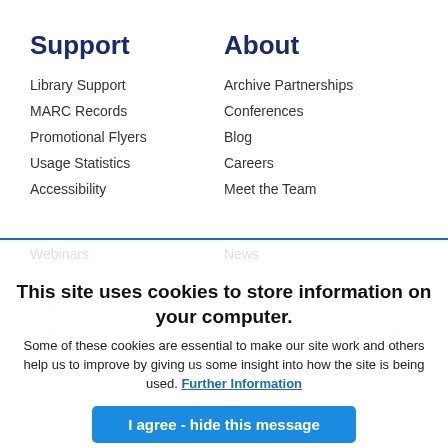Support
Library Support
MARC Records
Promotional Flyers
Usage Statistics
Accessibility
About
Archive Partnerships
Conferences
Blog
Careers
Meet the Team
This site uses cookies to store information on your computer.
Some of these cookies are essential to make our site work and others help us to improve by giving us some insight into how the site is being used. Further Information
I agree - hide this message